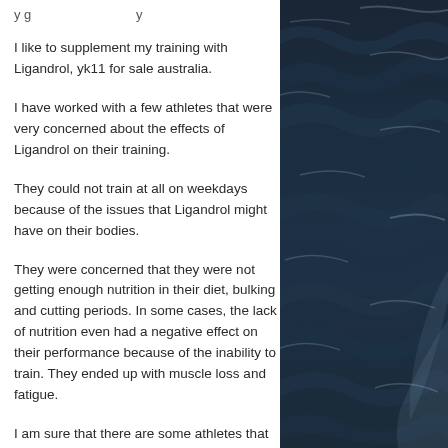I like to supplement my training with Ligandrol, yk11 for sale australia.
I have worked with a few athletes that were very concerned about the effects of Ligandrol on their training.
They could not train at all on weekdays because of the issues that Ligandrol might have on their bodies.
They were concerned that they were not getting enough nutrition in their diet, bulking and cutting periods. In some cases, the lack of nutrition even had a negative effect on their performance because of the inability to train. They ended up with muscle loss and fatigue.
I am sure that there are some athletes that
[Figure (photo): Ocean water surface seen from above with dark blue waves and foam, partial view on the right side of the page]